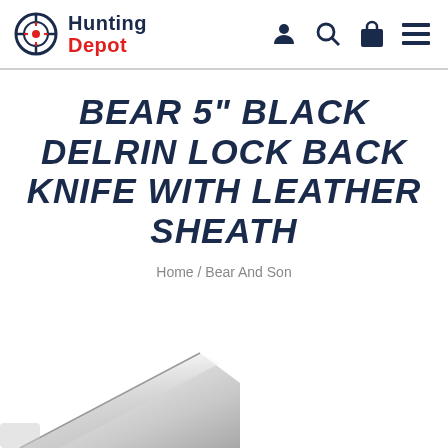Hunting Depot
BEAR 5" BLACK DELRIN LOCK BACK KNIFE WITH LEATHER SHEATH
Home / Bear And Son
[Figure (photo): Partial view of a knife blade, silver/metallic color, shown at an angle on white background]